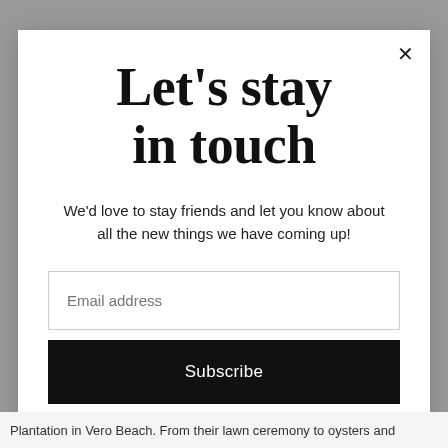Let's stay in touch
We'd love to stay friends and let you know about all the new things we have coming up!
Email address
Subscribe
Plantation in Vero Beach. From their lawn ceremony to oysters and